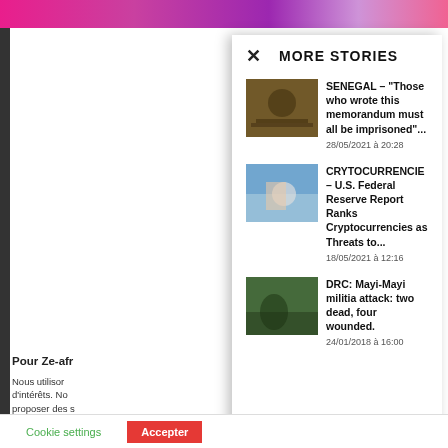MORE STORIES
SENEGAL – “Those who wrote this memorandum must all be imprisoned”… 28/05/2021 à 20:28
CRYTOCURRENCIE – U.S. Federal Reserve Report Ranks Cryptocurrencies as Threats to… 18/05/2021 à 12:16
DRC: Mayi-Mayi militia attack: two dead, four wounded. 24/01/2018 à 16:00
Pour Ze-afr
Nous utilison d’intérêts. No proposer des s
Cliquez sur “A d’une expérie modi
Pour en savoir p consultez notre
Cookie settings   Accepter